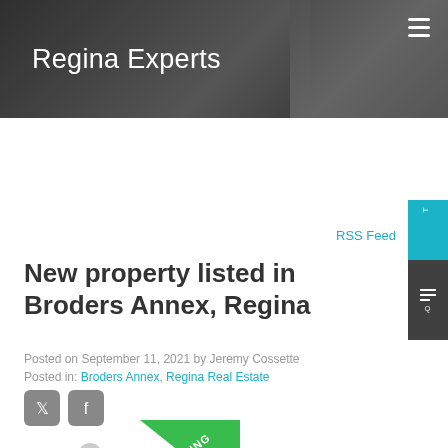Regina Experts
RSS Feed
New property listed in Broders Annex, Regina
Posted on September 11, 2021 by Jeremy Cossette
Posted in: Broders Annex, Regina Real Estate
[Figure (illustration): Social media share icons: Twitter and Facebook]
[Figure (illustration): Green 'LISTING' badge diagonal banner over a property image thumbnail]